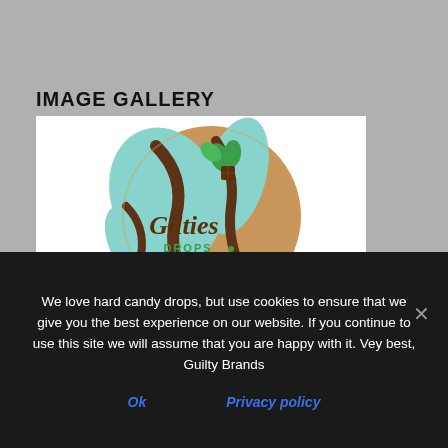IMAGE GALLERY
[Figure (photo): A round Gilties Drops candy tin with mint-chocolate swirl design in gold, teal/mint, and brown colors, on a white background]
We love hard candy drops, but use cookies to ensure that we give you the best experience on our website. If you continue to use this site we will assume that you are happy with it. Vey best, Guilty Brands
Ok
Privacy policy